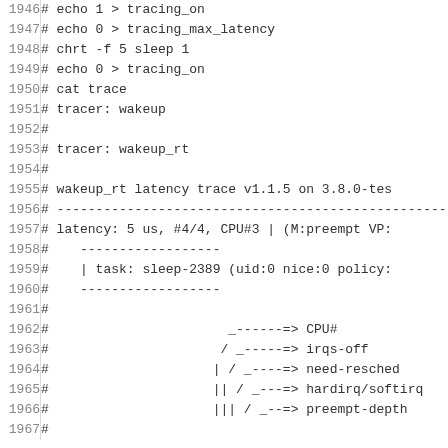Code listing lines 1946-1966 showing wakeup_rt latency trace commands and output
1946    # echo 1 > tracing_on
1947    # echo 0 > tracing_max_latency
1948    # chrt -f 5 sleep 1
1949    # echo 0 > tracing_on
1950    # cat trace
1951    # tracer: wakeup
1952    #
1953    # tracer: wakeup_rt
1954    #
1955    # wakeup_rt latency trace v1.1.5 on 3.8.0-tes
1956    # ----------------------------------------------------
1957    # latency: 5 us, #4/4, CPU#3 | (M:preempt VP:
1958    #    ------------------
1959    #    | task: sleep-2389 (uid:0 nice:0 policy:
1960    #    ------------------
1961    #
1962    #                       _------=> CPU#
1963    #                      / _-----=> irqs-off
1964    #                     | / _----=> need-resched
1965    #                     || / _---=> hardirq/softirq
1966    #                     ||| / _--=> preempt-depth